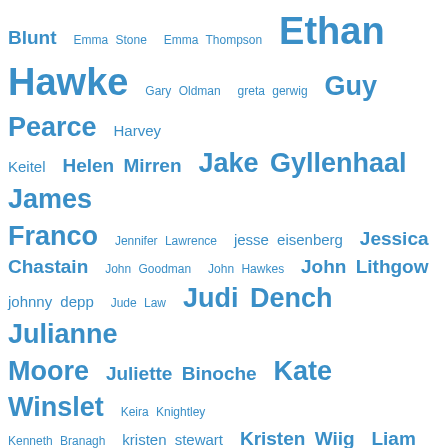[Figure (infographic): Word cloud of actor/director names in shades of blue, with font size indicating frequency/importance. Names include: Blunt, Emma Stone, Emma Thompson, Ethan Hawke, Gary Oldman, greta gerwig, Guy Pearce, Harvey Keitel, Helen Mirren, Jake Gyllenhaal, James Franco, Jennifer Lawrence, jesse eisenberg, Jessica Chastain, John Goodman, John Hawkes, John Lithgow, johnny depp, Jude Law, Judi Dench, Julianne Moore, Juliette Binoche, Kate Winslet, Keira Knightley, Kenneth Branagh, kristen stewart, Kristen Wiig, Liam Neeson, Mark Wahlberg, Mel Gibson, Meryl Streep, Mia Wasikowska, michael caine, Michael Fassbender, Michael Shannon, Naomi Watts, Nicole Kidman, Oscar Isaac, Rachel McAdams, Rachel Weisz, Robert Pattinson]